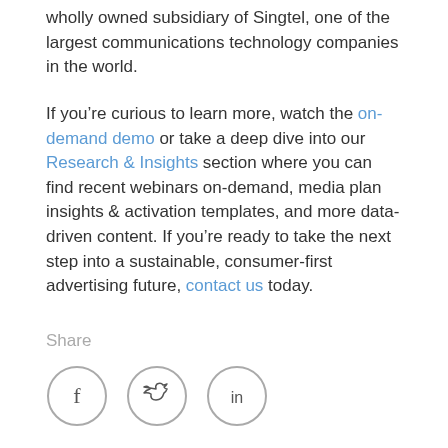wholly owned subsidiary of Singtel, one of the largest communications technology companies in the world.
If you’re curious to learn more, watch the on-demand demo or take a deep dive into our Research & Insights section where you can find recent webinars on-demand, media plan insights & activation templates, and more data-driven content. If you’re ready to take the next step into a sustainable, consumer-first advertising future, contact us today.
Share
[Figure (other): Social media share icons: Facebook (f), Twitter (bird), LinkedIn (in) — each in a circle outline]
[Figure (logo): Footer bar with blue triangle shape on left and gear/cog icon]